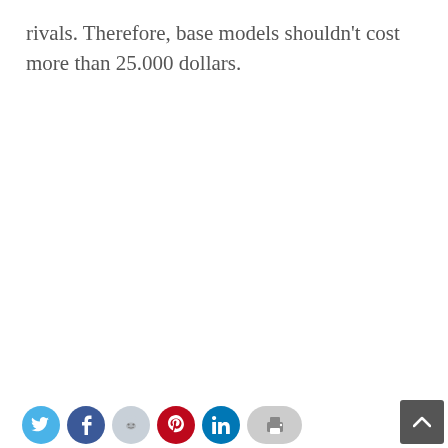rivals. Therefore, base models shouldn't cost more than 25.000 dollars.
[Figure (other): Social sharing icons bar at bottom of page: Twitter (blue circle), Facebook (dark blue circle), Reddit (light grey circle), Pinterest (red circle), LinkedIn (blue circle), Print (light grey pill shape). Also a dark grey scroll-to-top button in bottom-right corner with an upward chevron arrow.]